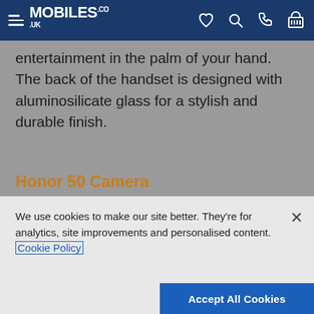MOBILES.CO.UK
entertainment in the palm of your hand. The back of the handset is designed with aluminosilicate glass for a stylish and durable finish.
Honor 50 Camera
The Honor 50 boasts a remarkable 108MP quad lens Ultra Clear camera, ensuring you capture amazing moments with sharp detail. The photographic
We use cookies to make our site better. They're for analytics, site improvements and personalised content. Cookie Policy
Accept All Cookies